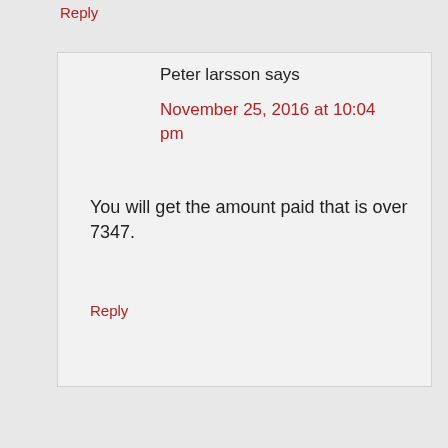Reply
Peter larsson says
November 25, 2016 at 10:04 pm
You will get the amount paid that is over 7347.
Reply